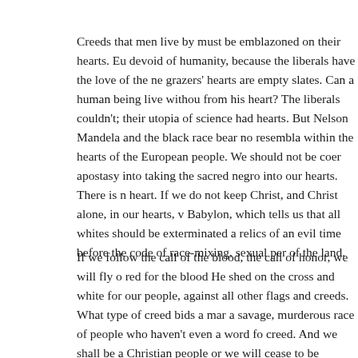Creeds that men live by must be emblazoned on their hearts. Eu devoid of humanity, because the liberals have the love of the ne grazers' hearts are empty slates. Can a human being live withou from his heart? The liberals couldn't; their utopia of science had hearts. But Nelson Mandela and the black race bear no resembla within the hearts of the European people. We should not be coer apostasy into taking the sacred negro into our hearts. There is n heart. If we do not keep Christ, and Christ alone, in our hearts, v Babylon, which tells us that all whites should be exterminated a relics of an evil time before the code of race-mixing, sexual per of the land.
If we follow the call of the blood, the call of honor, we will fly o red for the blood He shed on the cross and white for our people, against all other flags and creeds. What type of creed bids a mar a savage, murderous race of people who haven't even a word fo creed. And we shall be a Christian people or we will cease to be